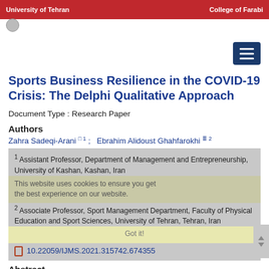University of Tehran   College of Farabi
Sports Business Resilience in the COVID-19 Crisis: The Delphi Qualitative Approach
Document Type : Research Paper
Authors
Zahra Sadeqi-Arani 1 ;  Ebrahim Alidoust Ghahfarokhi 2
1 Assistant Professor, Department of Management and Entrepreneurship, University of Kashan, Kashan, Iran
2 Associate Professor, Sport Management Department, Faculty of Physical Education and Sport Sciences, University of Tehran, Tehran, Iran
10.22059/IJMS.2021.315742.674355
Abstract